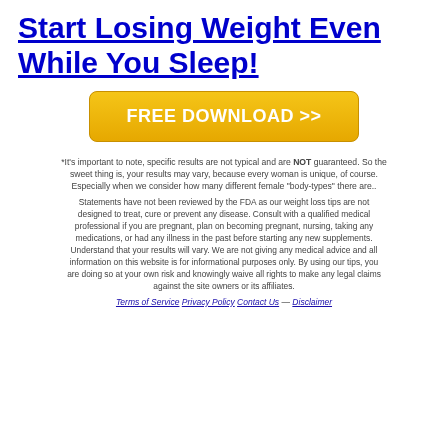Start Losing Weight Even While You Sleep!
[Figure (other): Yellow FREE DOWNLOAD >> button]
*It's important to note, specific results are not typical and are NOT guaranteed. So the sweet thing is, your results may vary, because every woman is unique, of course. Especially when we consider how many different female "body-types" there are..
Statements have not been reviewed by the FDA as our weight loss tips are not designed to treat, cure or prevent any disease. Consult with a qualified medical professional if you are pregnant, plan on becoming pregnant, nursing, taking any medications, or had any illness in the past before starting any new supplements. Understand that your results will vary. We are not giving any medical advice and all information on this website is for informational purposes only. By using our tips, you are doing so at your own risk and knowingly waive all rights to make any legal claims against the site owners or its affiliates.
Terms of Service  Privacy Policy  Contact Us  —  Disclaimer